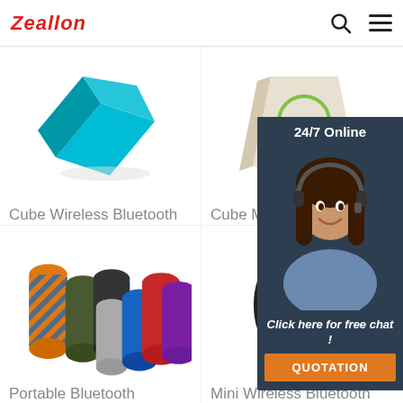Zeallon
[Figure (photo): Blue cube-shaped wireless Bluetooth speaker, geometric angular design]
Cube Wireless Bluetooth Speaker
[Figure (photo): Cube Mini Wireless Bluetooth Speaker, beige/white with green circle accent]
Cube Mini W... Bluetooth Sp...
[Figure (photo): Multiple colorful portable Bluetooth speakers in various colors and patterns]
Portable Bluetooth
[Figure (photo): Black Mini Wireless Bluetooth speaker, cylindrical design]
Mini Wireless Bluetooth
[Figure (screenshot): 24/7 Online chat widget with customer service agent photo, 'Click here for free chat!' text and QUOTATION button]